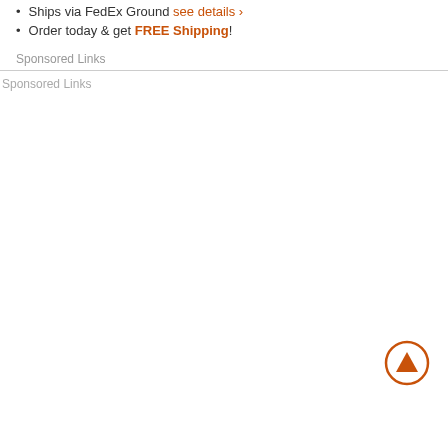Ships via FedEx Ground see details >
Order today & get FREE Shipping!
Sponsored Links
Sponsored Links
[Figure (illustration): Orange circle with upward-pointing triangle arrow inside (scroll-to-top button)]